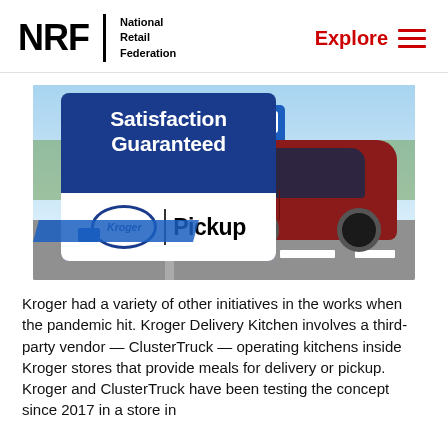NRF National Retail Federation | Explore
[Figure (photo): Kroger Pickup sign in a parking lot showing 'Satisfaction Guaranteed' and 'Kroger Pickup' signage, with a red car in the background]
Kroger had a variety of other initiatives in the works when the pandemic hit. Kroger Delivery Kitchen involves a third-party vendor — ClusterTruck — operating kitchens inside Kroger stores that provide meals for delivery or pickup. Kroger and ClusterTruck have been testing the concept since 2017 in a store in